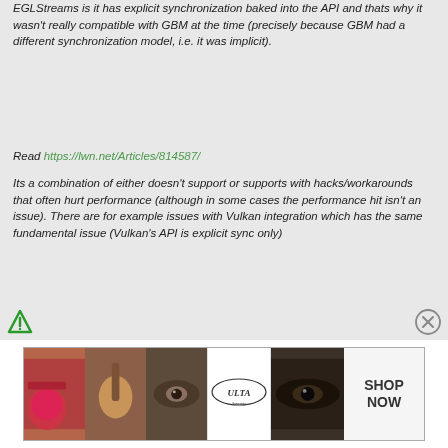EGLStreams is it has explicit synchronization baked into the API and thats why it wasn't really compatible with GBM at the time (precisely because GBM had a different synchronization model, i.e. it was implicit).
Read https://lwn.net/Articles/814587/
Its a combination of either doesn't support or supports with hacks/workarounds that often hurt performance (although in some cases the performance hit isn't an issue). There are for example issues with Vulkan integration which has the same fundamental issue (Vulkan's API is explicit sync only)
[Figure (illustration): Advertisement banner showing cosmetics/makeup imagery (lipstick, brush, eyes) with ULTA beauty logo and SHOP NOW call to action]